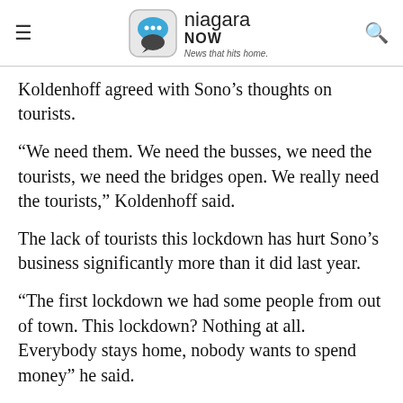niagara NOW — News that hits home.
Koldenhoff agreed with Sono’s thoughts on tourists.
“We need them. We need the busses, we need the tourists, we need the bridges open. We really need the tourists,” Koldenhoff said.
The lack of tourists this lockdown has hurt Sono’s business significantly more than it did last year.
“The first lockdown we had some people from out of town. This lockdown? Nothing at all. Everybody stays home, nobody wants to spend money” he said.